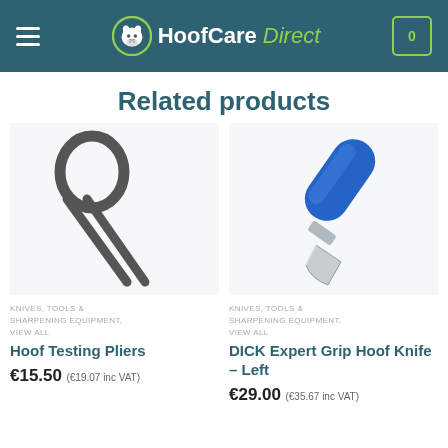HoofCare Direct
Related products
[Figure (photo): Metal hoof testing pliers tool on white background]
KNIVES, TOOLS & SHARPENING EQUIPMENT, VIEW ALL
Hoof Testing Pliers
€15.50 (€19.07 inc VAT)
[Figure (photo): DICK Expert Grip Hoof Knife with blue handle on white background]
KNIVES, TOOLS & SHARPENING EQUIPMENT, VIEW ALL
DICK Expert Grip Hoof Knife – Left
€29.00 (€35.67 inc VAT)